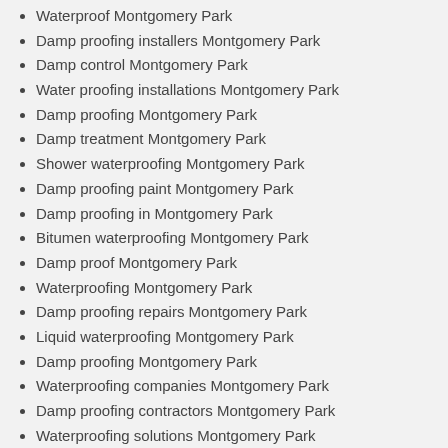Waterproof Montgomery Park
Damp proofing installers Montgomery Park
Damp control Montgomery Park
Water proofing installations Montgomery Park
Damp proofing Montgomery Park
Damp treatment Montgomery Park
Shower waterproofing Montgomery Park
Damp proofing paint Montgomery Park
Damp proofing in Montgomery Park
Bitumen waterproofing Montgomery Park
Damp proof Montgomery Park
Waterproofing Montgomery Park
Damp proofing repairs Montgomery Park
Liquid waterproofing Montgomery Park
Damp proofing Montgomery Park
Waterproofing companies Montgomery Park
Damp proofing contractors Montgomery Park
Waterproofing solutions Montgomery Park
Waterproof concrete Montgomery Park
Water proofing repairs Montgomery Park
Torch on waterproofing Montgomery Park
Waterproofing contractors Montgomery Park
Rising damp specialists Montgomery Park
Concrete waterproofing Montgomery Park
Waterproofing walls Montgomery Park
Damp walls Montgomery Park
Water proofing technicians Montgomery Park